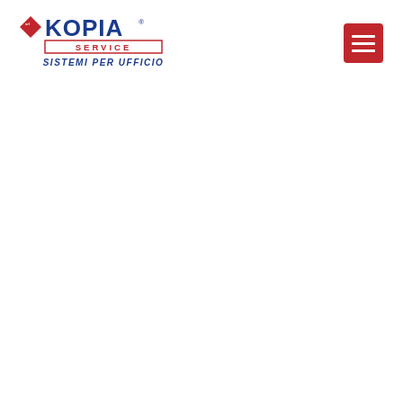[Figure (logo): Kopia Service logo — red diamond with 'srl' text on the left, blue bold letters 'KOPIA' with registered trademark symbol, then 'SERVICE' in a red-outlined box, and 'SISTEMI PER UFFICIO' in bold blue italic text below]
[Figure (other): Dark red/crimson hamburger menu button with three horizontal white lines, rounded rectangle shape]